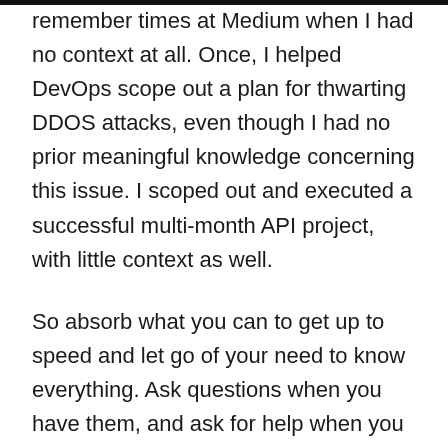remember times at Medium when I had no context at all. Once, I helped DevOps scope out a plan for thwarting DDOS attacks, even though I had no prior meaningful knowledge concerning this issue. I scoped out and executed a successful multi-month API project, with little context as well.
So absorb what you can to get up to speed and let go of your need to know everything. Ask questions when you have them, and ask for help when you get stuck. Trust that you'll tap into your team's expertise to get the information you need to lead teams and projects.